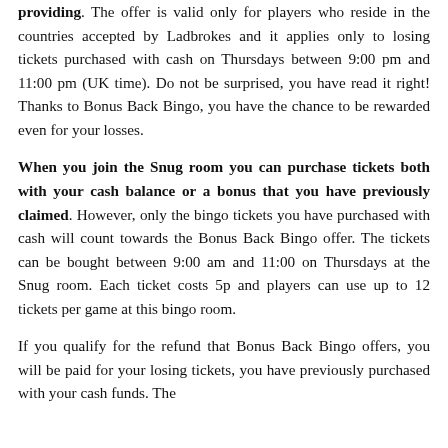providing. The offer is valid only for players who reside in the countries accepted by Ladbrokes and it applies only to losing tickets purchased with cash on Thursdays between 9:00 pm and 11:00 pm (UK time). Do not be surprised, you have read it right! Thanks to Bonus Back Bingo, you have the chance to be rewarded even for your losses.
When you join the Snug room you can purchase tickets both with your cash balance or a bonus that you have previously claimed. However, only the bingo tickets you have purchased with cash will count towards the Bonus Back Bingo offer. The tickets can be bought between 9:00 am and 11:00 on Thursdays at the Snug room. Each ticket costs 5p and players can use up to 12 tickets per game at this bingo room.
If you qualify for the refund that Bonus Back Bingo offers, you will be paid for your losing tickets, you have previously purchased with your cash funds. The